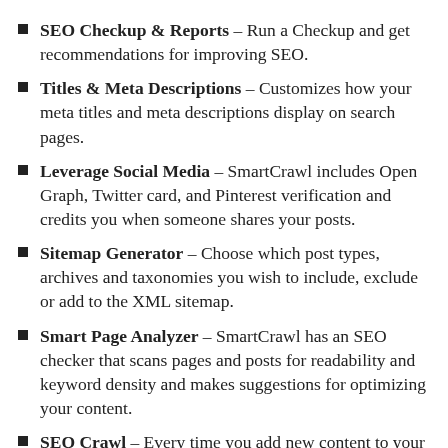SEO Checkup & Reports – Run a Checkup and get recommendations for improving SEO.
Titles & Meta Descriptions – Customizes how your meta titles and meta descriptions display on search pages.
Leverage Social Media – SmartCrawl includes Open Graph, Twitter card, and Pinterest verification and credits you when someone shares your posts.
Sitemap Generator – Choose which post types, archives and taxonomies you wish to include, exclude or add to the XML sitemap.
Smart Page Analyzer – SmartCrawl has an SEO checker that scans pages and posts for readability and keyword density and makes suggestions for optimizing your content.
SEO Crawl – Every time you add new content to your site, SmartCrawl will let Google know it's time to re-crawl your site.